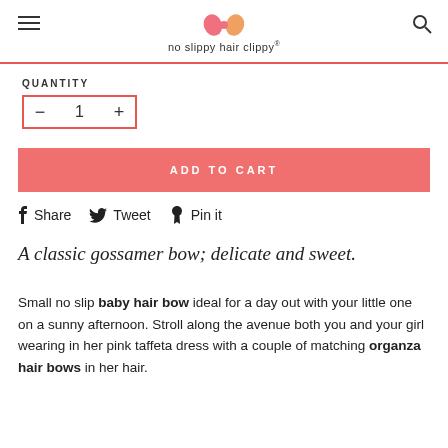no slippy hair clippy
QUANTITY
- 1 +
ADD TO CART
Share  Tweet  Pin it
A classic gossamer bow; delicate and sweet.
Small no slip baby hair bow ideal for a day out with your little one on a sunny afternoon. Stroll along the avenue both you and your girl wearing in her pink taffeta dress with a couple of matching organza hair bows in her hair.